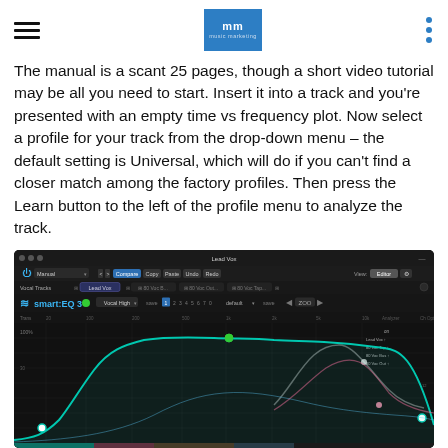mm music marketing logo and navigation
The manual is a scant 25 pages, though a short video tutorial may be all you need to start. Insert it into a track and you're presented with an empty time vs frequency plot. Now select a profile for your track from the drop-down menu – the default setting is Universal, which will do if you can't find a closer match among the factory profiles. Then press the Learn button to the left of the profile menu to analyze the track.
[Figure (screenshot): Screenshot of smart:EQ 3 plugin interface showing Lead Vox track with frequency spectrum curves on a dark background, including a teal/green EQ curve and other colored frequency response lines.]